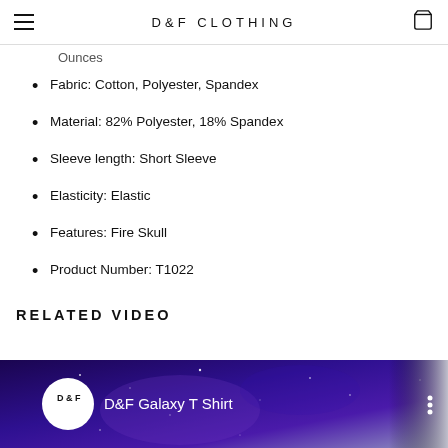D&F CLOTHING
Ounces
Fabric: Cotton, Polyester, Spandex
Material: 82% Polyester, 18% Spandex
Sleeve length: Short Sleeve
Elasticity: Elastic
Features: Fire Skull
Product Number: T1022
RELATED VIDEO
[Figure (screenshot): D&F Galaxy T Shirt video thumbnail with channel logo and title on a purple galaxy background]